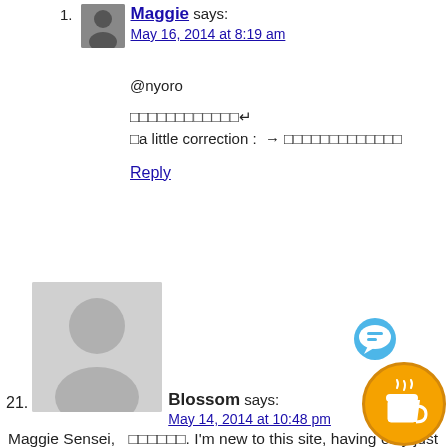1. Maggie says: May 16, 2014 at 8:19 am
@nyoro
□□□□□□□□□□□□↵
□a little correction : → □□□□□□□□□□□□□
Reply
21. Blossom says: May 14, 2014 at 10:48 pm
Maggie Sensei, □□□□□□. I'm new to this site, having only just begun visiting this week; but I have learned plenty. □□□□□□□□□□□□ However being new also means I haven't really gotten around to learning how to navigate this website properly and I have a few questions regarding colloquial grammar. I frequently hear in casual speech the 'te' form being followed immediately by '□□' or □ and □□□ without any 'i'. Is it just a result of slurring because it's easier without an 'i', or is it a correct construction?